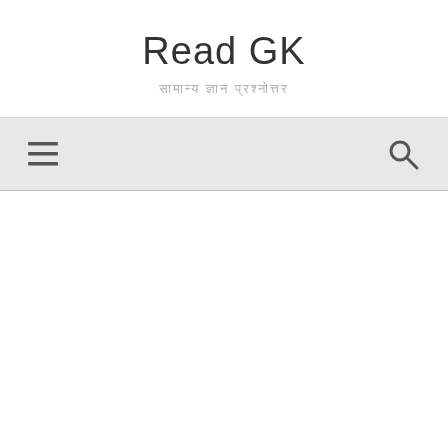Read GK
सामान्य ज्ञान प्रश्नोत्तर
[Figure (screenshot): Navigation bar with hamburger menu icon on the left and search icon on the right, on a light gray background]